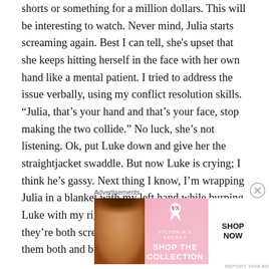shorts or something for a million dollars. This will be interesting to watch. Never mind, Julia starts screaming again. Best I can tell, she's upset that she keeps hitting herself in the face with her own hand like a mental patient. I tried to address the issue verbally, using my conflict resolution skills. “Julia, that’s your hand and that’s your face, stop making the two collide.” No luck, she’s not listening. Ok, put Luke down and give her the straightjacket swaddle. But now Luke is crying; I think he’s gassy. Next thing I know, I’m wrapping Julia in a blanket with my left hand while burping Luke with my right. Oh Jesus save me, now they’re both screaming like banshees. I can’t hold them both and burp them at the
Advertisements
[Figure (infographic): Victoria's Secret advertisement banner showing a woman with curly hair on the left, VS logo and text 'SHOP THE COLLECTION' in center on pink background, and a white 'SHOP NOW' button on right.]